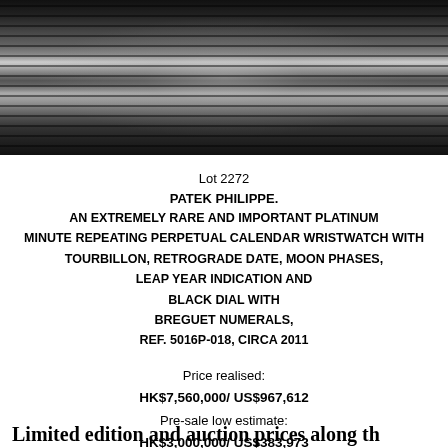[Figure (photo): Close-up photograph of a Patek Philippe watch movement or case detail, showing metallic horizontal ridged/striped texture in dark monochrome tones with glass or crystal element visible.]
Lot 2272
PATEK PHILIPPE.
AN EXTREMELY RARE AND IMPORTANT PLATINUM MINUTE REPEATING PERPETUAL CALENDAR WRISTWATCH WITH TOURBILLON, RETROGRADE DATE, MOON PHASES, LEAP YEAR INDICATION AND BLACK DIAL WITH BREGUET NUMERALS,
REF. 5016P-018, CIRCA 2011
Price realised:
HK$7,560,000/ US$967,612
Pre-sale low estimate:
HK$3,000,000/ US$383,973
Limited edition and auction prices along the